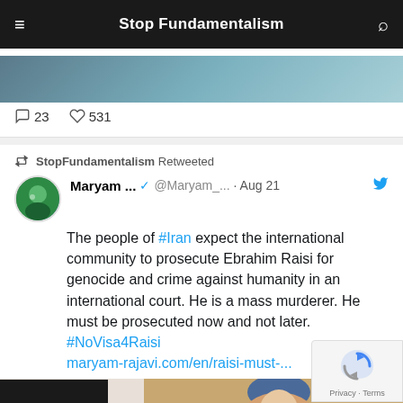Stop Fundamentalism
[Figure (photo): Partial top of previous tweet card showing a teal/blue image]
23 replies  531 likes
StopFundamentalism Retweeted
Maryam ...  @Maryam_...  Aug 21 — The people of #Iran expect the international community to prosecute Ebrahim Raisi for genocide and crime against humanity in an international court. He is a mass murderer. He must be prosecuted now and not later. #NoVisa4Raisi maryam-rajavi.com/en/raisi-must-...
[Figure (photo): Photo of a woman in a blue hijab speaking, with an Iranian flag visible to the left]
[Figure (other): reCAPTCHA Privacy·Terms overlay in bottom right]